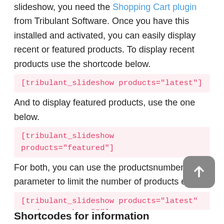slideshow, you need the Shopping Cart plugin from Tribulant Software. Once you have this installed and activated, you can easily display recent or featured products. To display recent products use the shortcode below.
[tribulant_slideshow products="latest"]
And to display featured products, use the one below.
[tribulant_slideshow products="featured"]
For both, you can use the productsnumber parameter to limit the number of products eg.
[tribulant_slideshow products="latest" productsnumber="5"]